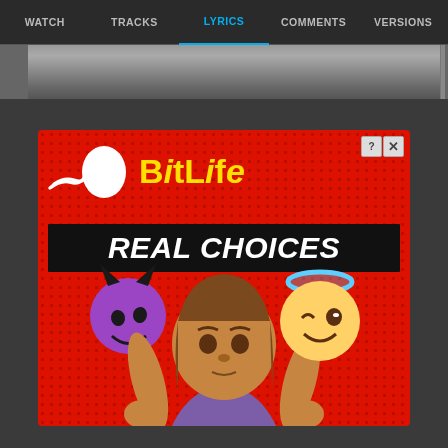WATCH  TRACKS  LYRICS  COMMENTS  VERSIONS
[Figure (screenshot): Thumbnail strip showing partial video preview with dark background]
[Figure (illustration): BitLife game advertisement on red dotted background. Shows BitLife logo in yellow text with a sperm cell icon, 'REAL CHOICES' text in white bold italic on black banner, and cartoon character holding devil and angel emojis.]